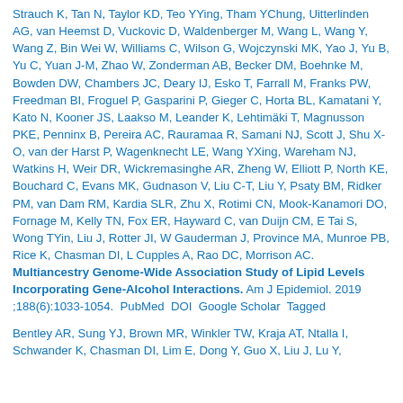Strauch K, Tan N, Taylor KD, Teo YYing, Tham YChung, Uitterlinden AG, van Heemst D, Vuckovic D, Waldenberger M, Wang L, Wang Y, Wang Z, Bin Wei W, Williams C, Wilson G, Wojczynski MK, Yao J, Yu B, Yu C, Yuan J-M, Zhao W, Zonderman AB, Becker DM, Boehnke M, Bowden DW, Chambers JC, Deary IJ, Esko T, Farrall M, Franks PW, Freedman BI, Froguel P, Gasparini P, Gieger C, Horta BL, Kamatani Y, Kato N, Kooner JS, Laakso M, Leander K, Lehtimäki T, Magnusson PKE, Penninx B, Pereira AC, Rauramaa R, Samani NJ, Scott J, Shu X-O, van der Harst P, Wagenknecht LE, Wang YXing, Wareham NJ, Watkins H, Weir DR, Wickremasinghe AR, Zheng W, Elliott P, North KE, Bouchard C, Evans MK, Gudnason V, Liu C-T, Liu Y, Psaty BM, Ridker PM, van Dam RM, Kardia SLR, Zhu X, Rotimi CN, Mook-Kanamori DO, Fornage M, Kelly TN, Fox ER, Hayward C, van Duijn CM, E Tai S, Wong TYin, Liu J, Rotter JI, W Gauderman J, Province MA, Munroe PB, Rice K, Chasman DI, L Cupples A, Rao DC, Morrison AC. Multiancestry Genome-Wide Association Study of Lipid Levels Incorporating Gene-Alcohol Interactions. Am J Epidemiol. 2019 ;188(6):1033-1054. PubMed DOI Google Scholar Tagged
Bentley AR, Sung YJ, Brown MR, Winkler TW, Kraja AT, Ntalla I, Schwander K, Chasman DI, Lim E, Dong Y, Guo X, Liu J, Lu Y,